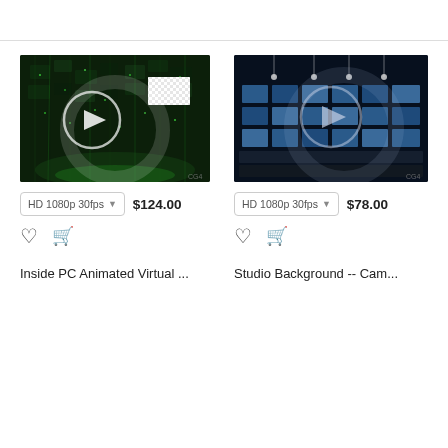[Figure (screenshot): Thumbnail of 'Inside PC Animated Virtual' video — green matrix-like 3D environment with circuit boards, with a white play button circle overlay and a transparent/checkered image preview in top right.]
HD 1080p 30fps  $124.00
♡  🛒
Inside PC Animated Virtual ...
[Figure (screenshot): Thumbnail of 'Studio Background -- Cam...' video — dark TV studio with wall of monitor screens glowing blue, with a dark play button circle overlay. Watermark 'CG4' visible.]
HD 1080p 30fps  $78.00
♡  🛒
Studio Background -- Cam...